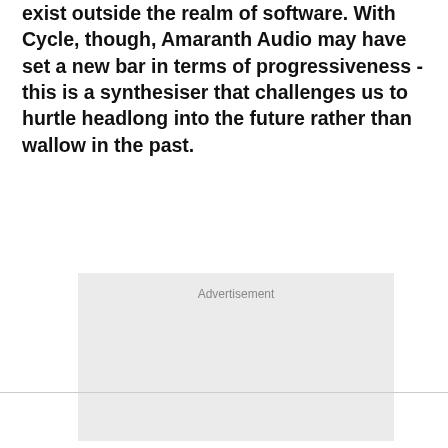exist outside the realm of software. With Cycle, though, Amaranth Audio may have set a new bar in terms of progressiveness - this is a synthesiser that challenges us to hurtle headlong into the future rather than wallow in the past.
[Figure (other): Advertisement placeholder box with light grey background and 'Advertisement' label text at top center.]